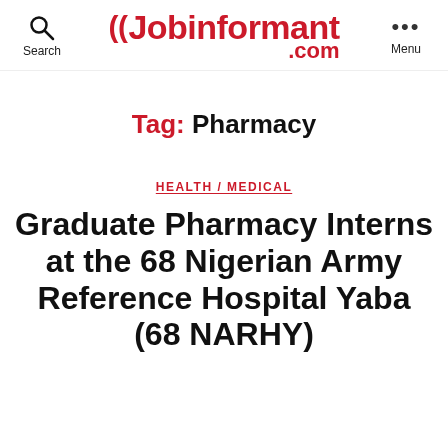Jobinformant.com
Tag: Pharmacy
HEALTH / MEDICAL
Graduate Pharmacy Interns at the 68 Nigerian Army Reference Hospital Yaba (68 NARHY)